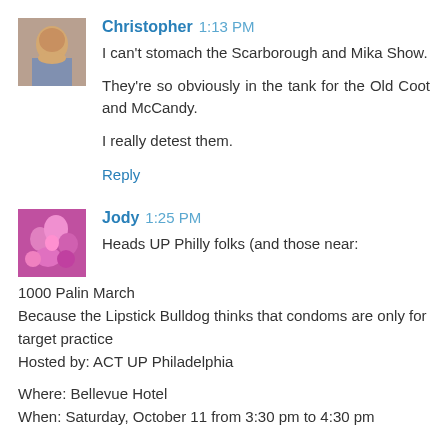Christopher 1:13 PM
I can't stomach the Scarborough and Mika Show.
They're so obviously in the tank for the Old Coot and McCandy.
I really detest them.
Reply
Jody 1:25 PM
Heads UP Philly folks (and those near:
1000 Palin March
Because the Lipstick Bulldog thinks that condoms are only for target practice
Hosted by: ACT UP Philadelphia
Where: Bellevue Hotel
When: Saturday, October 11 from 3:30 pm to 4:30 pm